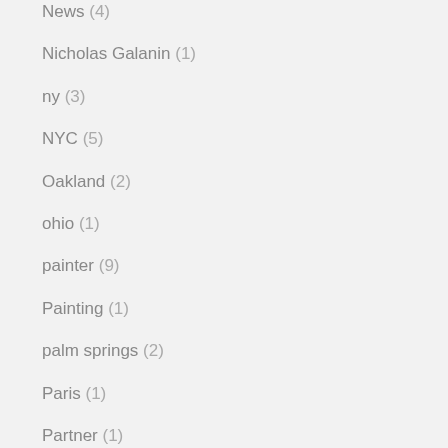News (4)
Nicholas Galanin (1)
ny (3)
NYC (5)
Oakland (2)
ohio (1)
painter (9)
Painting (1)
palm springs (2)
Paris (1)
Partner (1)